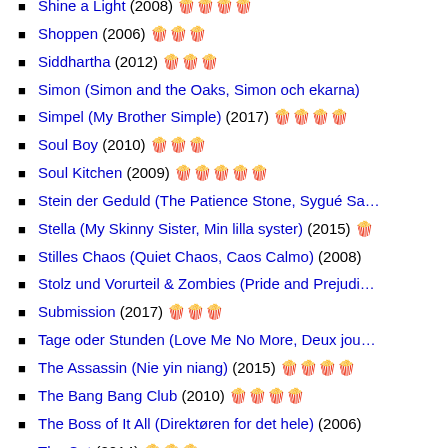Shine a Light (2008) 🍿🍿🍿🍿
Shoppen (2006) 🍿🍿🍿
Siddhartha (2012) 🍿🍿🍿
Simon (Simon and the Oaks, Simon och ekarna)
Simpel (My Brother Simple) (2017) 🍿🍿🍿🍿
Soul Boy (2010) 🍿🍿🍿
Soul Kitchen (2009) 🍿🍿🍿🍿🍿
Stein der Geduld (The Patience Stone, Sygué Sa…
Stella (My Skinny Sister, Min lilla syster) (2015) 🍿
Stilles Chaos (Quiet Chaos, Caos Calmo) (2008)
Stolz und Vorurteil & Zombies (Pride and Prejudi…
Submission (2017) 🍿🍿🍿
Tage oder Stunden (Love Me No More, Deux jou…
The Assassin (Nie yin niang) (2015) 🍿🍿🍿🍿
The Bang Bang Club (2010) 🍿🍿🍿🍿
The Boss of It All (Direktøren for det hele) (2006)
The Cut (2014) 🍿🍿🍿
The Face of an Angel (2014) 🍿🍿🍿
The Good… (2008) 🍿🍿🍿